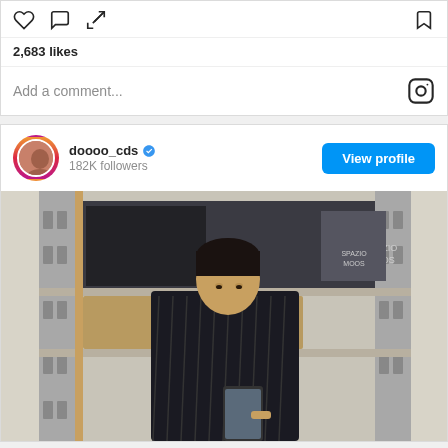2,683 likes
Add a comment...
doooo_cds
182K followers
[Figure (photo): An Asian man wearing a dark striped jacket looks at a mobile phone while standing in front of shelving made of cinder blocks containing books and art, including a portrait and a text reading 'SPAZIO MOOS']